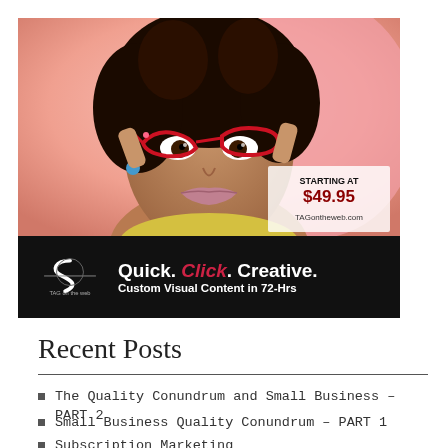[Figure (photo): Advertisement for TAG on the web showing a woman with red cat-eye glasses against a pink background with text 'STARTING AT $49.95 TAGontheweb.com' and a black banner reading 'Quick. Click. Creative. Custom Visual Content in 72-Hrs' with TAG on the web logo]
Recent Posts
The Quality Conundrum and Small Business – PART 2
Small Business Quality Conundrum – PART 1
Subscription Marketing